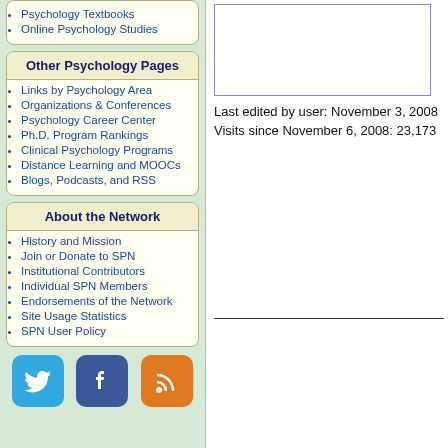Psychology Textbooks
Online Psychology Studies
Other Psychology Pages
Links by Psychology Area
Organizations & Conferences
Psychology Career Center
Ph.D. Program Rankings
Clinical Psychology Programs
Distance Learning and MOOCs
Blogs, Podcasts, and RSS
About the Network
History and Mission
Join or Donate to SPN
Institutional Contributors
Individual SPN Members
Endorsements of the Network
Site Usage Statistics
SPN User Policy
Last edited by user: November 3, 2008
Visits since November 6, 2008: 23,173